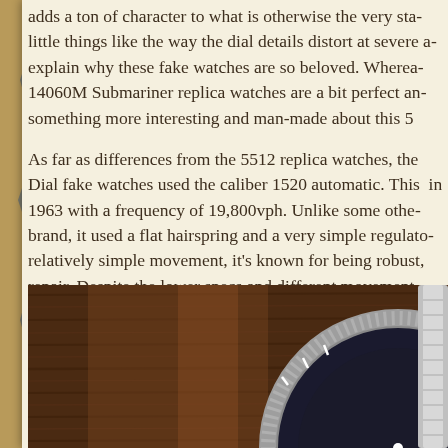adds a ton of character to what is otherwise the very standard little things like the way the dial details distort at severe angles explain why these fake watches are so beloved. Whereas the 14060M Submariner replica watches are a bit perfect and soulless, something more interesting and man-made about this 55
As far as differences from the 5512 replica watches, the Dial fake watches used the caliber 1520 automatic. This in 1963 with a frequency of 19,800vph. Unlike some other brand, it used a flat hairspring and a very simple regulator. relatively simple movement, it's known for being robust, repair. Despite the lower specs and different movement than the 5512, it still feels and "winds" like the replica Rolex watch, that makes sense.
[Figure (photo): Close-up photo of a Rolex Submariner replica watch with a black dial and bezel showing the number 50, placed on a dark wooden surface. The watch has a stainless steel case and bracelet visible on the right side.]